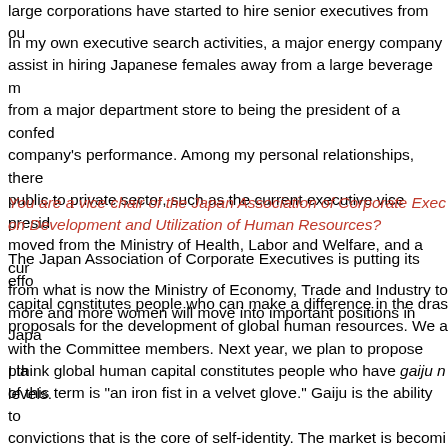large corporations have started to hire senior executives from ou
In my own executive search activities, a major energy company assist in hiring Japanese females away from a large beverage m from a major department store to being the president of a confed company's performance. Among my personal relationships, ther public to private sector, such as the current executive vice presid moved from the Ministry of Health, Labor and Welfare, and a cur from what is now the Ministry of Economy, Trade and Industry to more and more women will move into important positions in Japa
You are a vice chair of the Japan Association of Corporate Exec on Development and Utilization of Human Resources?
The Japan Association of Corporate Executives is putting its effo capital constitutes people who can make a difference in the dras proposals for the development of global human resources. We a with the Committee members. Next year, we plan to propose pla levels.
I think global human capital constitutes people who have gaiju n of this term is "an iron fist in a velvet glove." Gaiju is the ability to convictions that is the core of self-identity. The market is becomi of different values flexibly and tenaciously and survive internation possesses gaiju naigo.